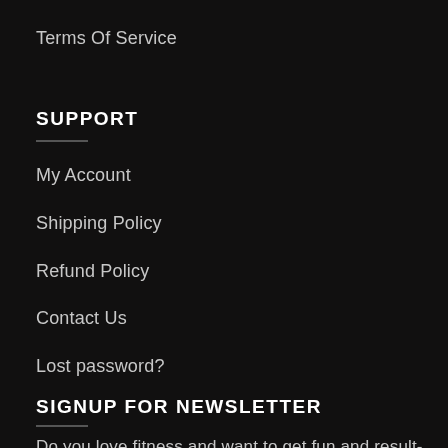Terms Of Service
SUPPORT
My Account
Shipping Policy
Refund Policy
Contact Us
Lost password?
SIGNUP FOR NEWSLETTER
Do you love fitness and want to get fun and result-